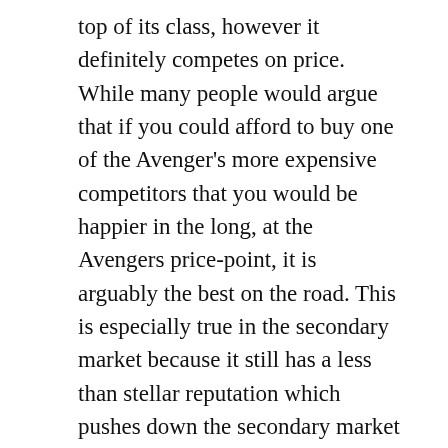top of its class, however it definitely competes on price. While many people would argue that if you could afford to buy one of the Avenger's more expensive competitors that you would be happier in the long, at the Avengers price-point, it is arguably the best on the road. This is especially true in the secondary market because it still has a less than stellar reputation which pushes down the secondary market value considerably.
Related Articles
Used Cars in Escondido, CA
Used Cars in Garden Grove, CA
Used Cars in Kansas City, MO